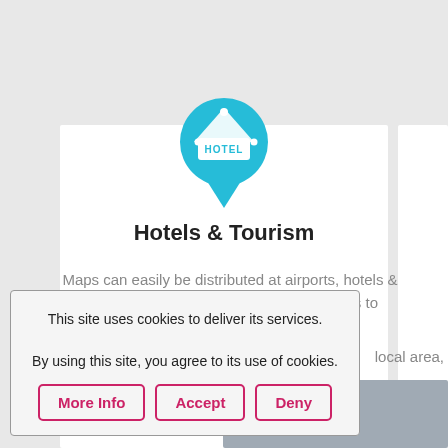[Figure (illustration): Blue map pin / location marker icon with a hotel sign (triangle roof with 'HOTEL' text) inside, in cyan/turquoise color]
Hotels & Tourism
Maps can easily be distributed at airports, hotels & tourist information centres allowing guests to ... local area,
This site uses cookies to deliver its services.

By using this site, you agree to its use of cookies.
More Info | Accept | Deny